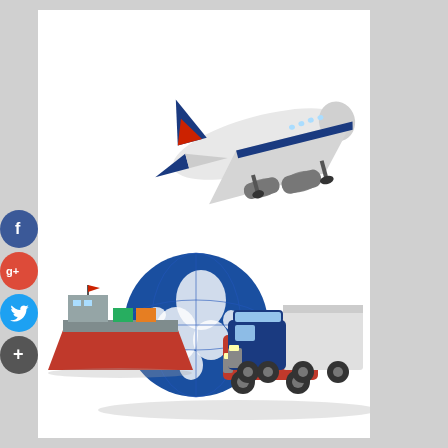[Figure (illustration): Global transportation and logistics illustration showing a commercial airplane in flight at the top, and below it a cargo ship, a globe showing continents, a red SUV/van, and a blue semi-truck with trailer, all arranged together to represent multimodal global freight and logistics.]
[Figure (infographic): Social media share buttons sidebar on the left: Facebook (blue circle with f), Google+ (red circle with g+), Twitter (light blue circle with bird icon), and a dark Add/Share button (dark circle with +).]